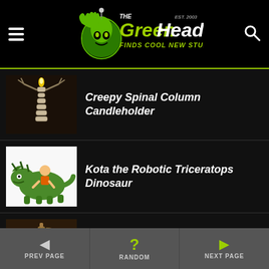The Green Head - Finds Cool New Stuff!
Creepy Spinal Column Candleholder
Kota the Robotic Triceratops Dinosaur
First Hand Soap Dispenser
PREV PAGE | RANDOM | NEXT PAGE